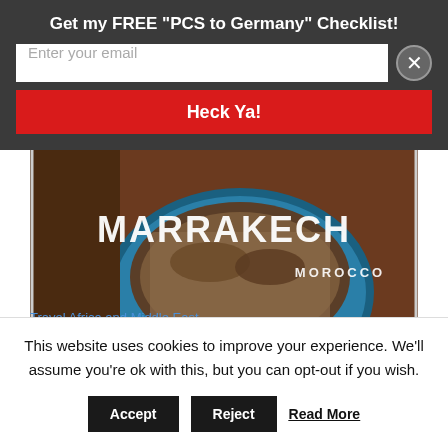Get my FREE "PCS to Germany" Checklist!
Enter your email
Heck Ya!
[Figure (photo): Hero image of Marrakech Morocco - showing a blue bowl with spices/grains with the text MARRAKECH MOROCCO overlaid in white brushstroke letters]
Travel Africa and Middle East
Marrakech Safety: The Tannery Scam
This website uses cookies to improve your experience. We'll assume you're ok with this, but you can opt-out if you wish.
Accept   Reject   Read More